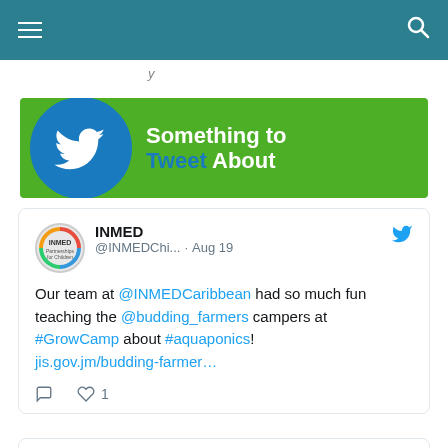Navigation bar with hamburger menu and search icon
y
[Figure (illustration): Green banner with Twitter bird logo in blue circle and text 'Something to Tweet About' in white and blue]
INMED @INMEDChi... · Aug 19
Our team at @INMEDCaribbean had so much fun teaching the @budding_farmers campers at #GrowCamp about #aquaponics! jis.gov.jm/budding-farmer...
View more on Twitter